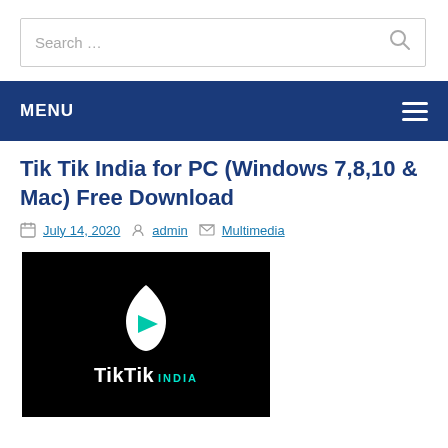[Figure (screenshot): Search bar with placeholder text 'Search ...' and a magnifying glass icon on the right]
MENU
Tik Tik India for PC (Windows 7,8,10 & Mac) Free Download
July 14, 2020   admin   Multimedia
[Figure (logo): TikTik India app logo on black background with a flame-shaped icon containing a teal play button, and 'TikTik INDIA' text below in white and teal]